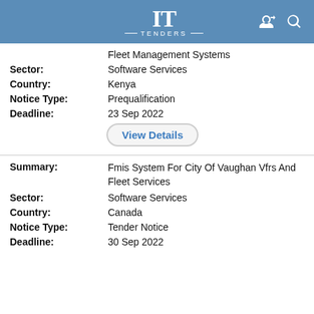IT TENDERS
Fleet Management Systems
Sector: Software Services
Country: Kenya
Notice Type: Prequalification
Deadline: 23 Sep 2022
View Details
Summary: Fmis System For City Of Vaughan Vfrs And Fleet Services
Sector: Software Services
Country: Canada
Notice Type: Tender Notice
Deadline: 30 Sep 2022